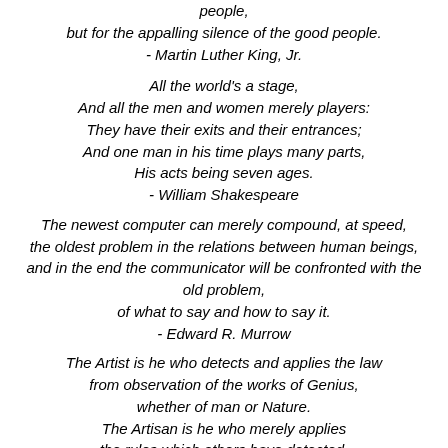people,
but for the appalling silence of the good people.
- Martin Luther King, Jr.
All the world's a stage,
And all the men and women merely players:
They have their exits and their entrances;
And one man in his time plays many parts,
His acts being seven ages.
- William Shakespeare
The newest computer can merely compound, at speed, the oldest problem in the relations between human beings, and in the end the communicator will be confronted with the old problem,
of what to say and how to say it.
- Edward R. Murrow
The Artist is he who detects and applies the law from observation of the works of Genius, whether of man or Nature.
The Artisan is he who merely applies the rules which others have detected.
- Henry David Thoreau
To imitate is to join in on something, to imitate is all the point...